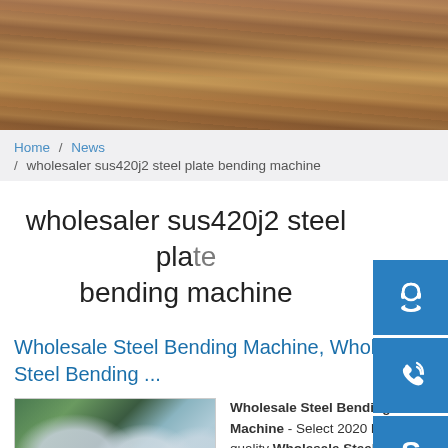[Figure (photo): Hero banner showing stacked metal/steel plates or sheets with rusty orange-brown color, viewed at an angle]
Home / News / wholesaler sus420j2 steel plate bending machine
wholesaler sus420j2 steel plate bending machine
Wholesale Steel Bending Machine, Wholesale Steel Bending ...
[Figure (photo): Image of rolled steel coils/sheets stored in an industrial warehouse with green floor]
Wholesale Steel Bending Machine - Select 2020 high quality Wholesale Steel Bending Machine products in...